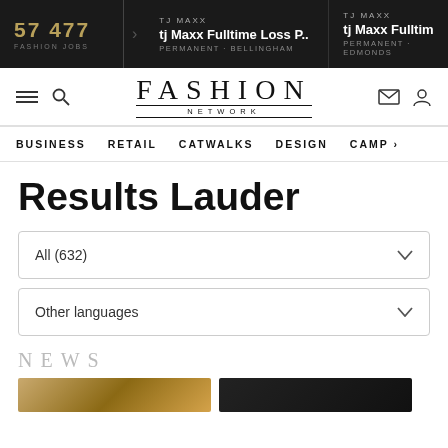57 477 FASHION JOBS | TJ MAXX tj Maxx Fulltime Loss P... PERMANENT · BELLINGHAM | TJ MAXX tj Maxx Fulltim... PERMANENT · EDMONDS
[Figure (screenshot): Fashion Network website navigation bar with logo, menu icons, and main navigation links: BUSINESS, RETAIL, CATWALKS, DESIGN, CAMP]
Results Lauder
All (632)
Other languages
NEWS
[Figure (photo): Two thumbnail images at bottom of page, partially visible]